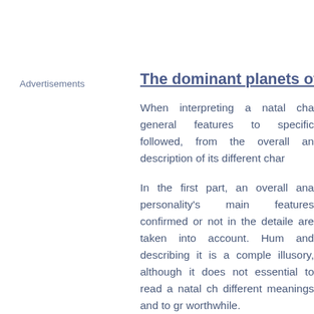Advertisements
The dominant planets of
When interpreting a natal cha general features to specific followed, from the overall an description of its different char
In the first part, an overall ana personality's main features confirmed or not in the detaile are taken into account. Hum and describing it is a comple illusory, although it does not essential to read a natal ch different meanings and to gr worthwhile.
In brief, a natal chart is comp and the Moon, three fast-mo